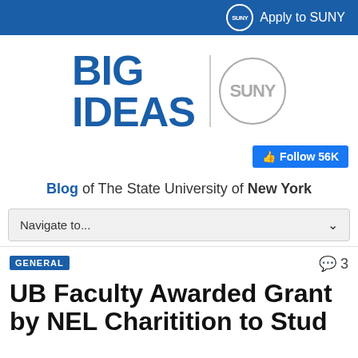Apply to SUNY
[Figure (logo): BIG IDEAS SUNY blog logo with SUNY circle emblem]
[Figure (screenshot): Facebook Follow button showing 56K followers]
Blog of The State University of New York
Navigate to...
GENERAL
UB Faculty Awarded Grant by NEL Charitition to Stud...